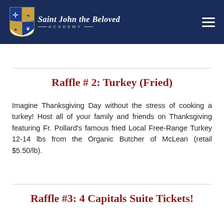[Figure (logo): Saint John the Beloved Academy shield logo with school name in white italic text on dark navy background header bar]
Raffle # 2: Turkey (Fried)
Imagine Thanksgiving Day without the stress of cooking a turkey! Host all of your family and friends on Thanksgiving featuring Fr. Pollard's famous fried Local Free-Range Turkey 12-14 lbs from the Organic Butcher of McLean (retail $5.50/lb).
Raffle #3: 4 Capitals Suite Tickets!